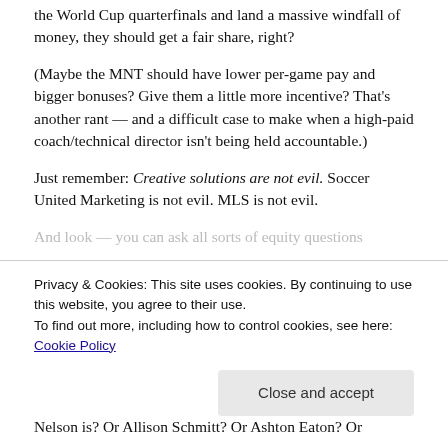the World Cup quarterfinals and land a massive windfall of money, they should get a fair share, right?
(Maybe the MNT should have lower per-game pay and bigger bonuses? Give them a little more incentive? That's another rant — and a difficult case to make when a high-paid coach/technical director isn't being held accountable.)
Just remember: Creative solutions are not evil. Soccer United Marketing is not evil. MLS is not evil.
And look — you can ask all sorts of equity questions
Privacy & Cookies: This site uses cookies. By continuing to use this website, you agree to their use.
To find out more, including how to control cookies, see here: Cookie Policy
Close and accept
Nelson is? Or Allison Schmitt? Or Ashton Eaton? Or